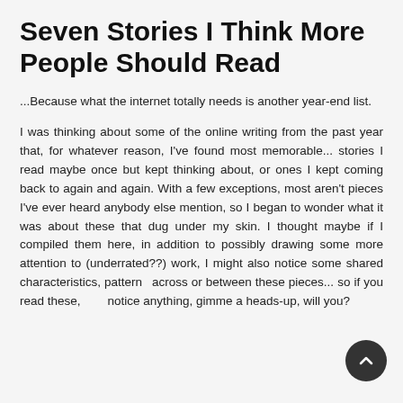Seven Stories I Think More People Should Read
...Because what the internet totally needs is another year-end list.
I was thinking about some of the online writing from the past year that, for whatever reason, I've found most memorable... stories I read maybe once but kept thinking about, or ones I kept coming back to again and again. With a few exceptions, most aren't pieces I've ever heard anybody else mention, so I began to wonder what it was about these that dug under my skin. I thought maybe if I compiled them here, in addition to possibly drawing some more attention to (underrated??) work, I might also notice some shared characteristics, patterns across or between these pieces... so if you read these, and notice anything, gimme a heads-up, will you?